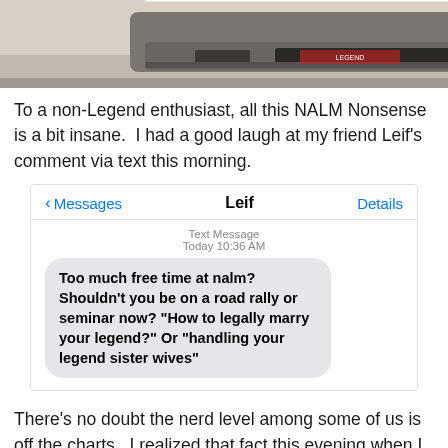[Figure (photo): Partial photo of the front/bottom of a gray car in a parking lot, cropped at the top of the page.]
To a non-Legend enthusiast, all this NALM Nonsense is a bit insane.  I had a good laugh at my friend Leif's comment via text this morning.
[Figure (screenshot): iPhone Messages screenshot showing a conversation with 'Leif'. Header shows '< Messages', 'Leif' (bold, centered), 'Details' (blue). Body shows 'Text Message / Today 10:36 AM' timestamp and a gray speech bubble: 'Too much free time at nalm? Shouldn't you be on a road rally or seminar now? "How to legally marry your legend?" Or "handling your legend sister wives"']
There's no doubt the nerd level among some of us is off the charts.  I realized that fact this evening when I asked my friend and fellow attendee Ben to recite his car's 17-